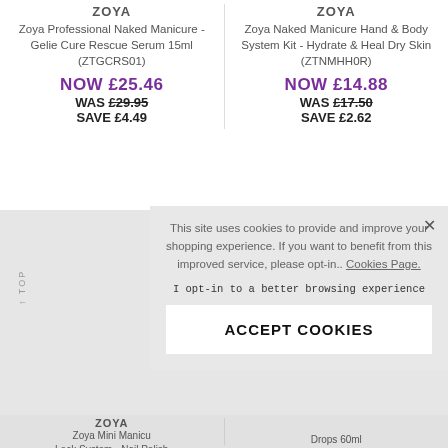ZOYA
Zoya Professional Naked Manicure - Gelie Cure Rescue Serum 15ml (ZTGCRS01)
NOW £25.46
WAS £29.95
SAVE £4.49
ZOYA
Zoya Naked Manicure Hand & Body System Kit - Hydrate & Heal Dry Skin (ZTNMHH0R)
NOW £14.88
WAS £17.50
SAVE £2.62
This site uses cookies to provide and improve your shopping experience. If you want to benefit from this improved service, please opt-in.. Cookies Page. I opt-in to a better browsing experience
ACCEPT COOKIES
ZOYA
Zoya Mini Manicu
Lock System - Nail Polish
Drops 60ml